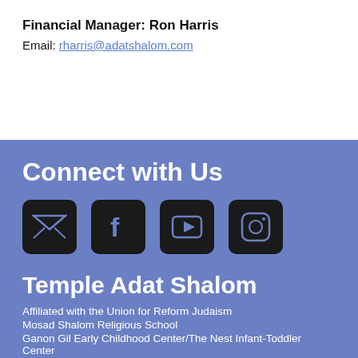Financial Manager: Ron Harris
Email: rharris@adatshalom.com
Connect with Us
[Figure (infographic): Four social media icons: email envelope, Facebook, YouTube, Instagram]
Temple Adat Shalom
Affiliated with the Union for Reform Judaism
Mosad Shalom Religious School
Ganon Gil Early Childhood Center/The Nest Infant-Toddler Center